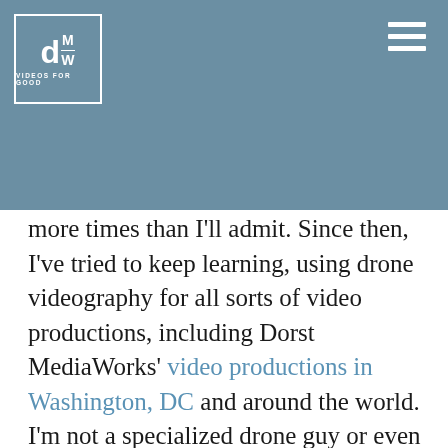[Figure (logo): Dorst MediaWorks logo: white 'd' with 'M' and 'W' letters in a white-bordered box, with 'VIDEOS FOR GOOD' tagline below, on a blue-grey header bar]
Before we dive in, a note about me. This article is based on my six years of piloting drones. I crashed my Phantom 1 more times than I'll admit. Since then, I've tried to keep learning, using drone videography for all sorts of video productions, including Dorst MediaWorks' video productions in Washington, DC and around the world. I'm not a specialized drone guy or even a drone fanboy. I'm a documentary guy, who's trying to use a tool to tell stories.